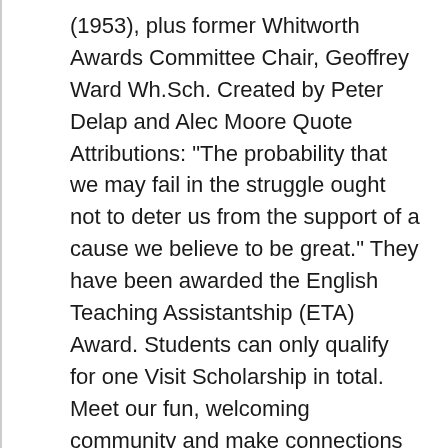(1953), plus former Whitworth Awards Committee Chair, Geoffrey Ward Wh.Sch. Created by Peter Delap and Alec Moore Quote Attributions: "The probability that we may fail in the struggle ought not to deter us from the support of a cause we believe to be great." They have been awarded the English Teaching Assistantship (ETA) Award. Students can only qualify for one Visit Scholarship in total. Meet our fun, welcoming community and make connections right away. 150 years later, His scheme continues to grow and support talented engineers to fulfil his vision. Check out Whitworth University (Whitworth) Korean American Scholarships in Spokane, WA to find AAJA Sports Journalism Scholarship, Korean Ancestry Grant, Korean American Scholarships Starting Oct. 14, 2020, these students can also qualify for the scholarship by completing a formal follow-up letter in the form of...